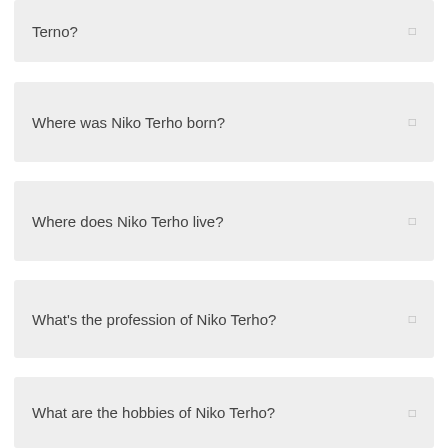Terno?
Where was Niko Terho born?
Where does Niko Terho live?
What's the profession of Niko Terho?
What are the hobbies of Niko Terho?
What's the nationality of Niko Terho?